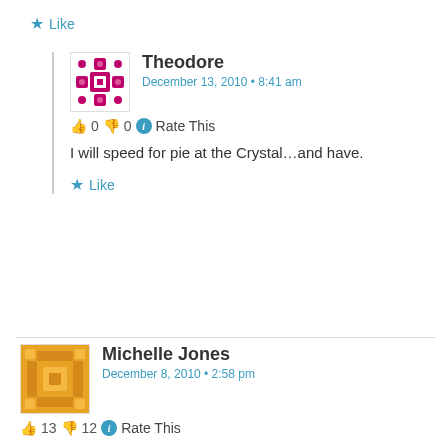★ Like
Theodore
December 13, 2010 • 8:41 am
👍 0 👎 0 ℹ Rate This

I will speed for pie at the Crystal…and have.

★ Like
Michelle Jones
December 8, 2010 • 2:58 pm
👍 13 👎 12 ℹ Rate This

Mayflower Cafe, Downtown Jackson

★ Like